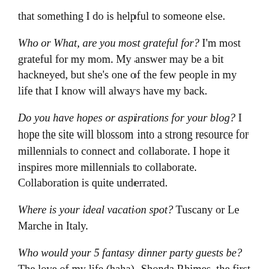that something I do is helpful to someone else.
Who or What, are you most grateful for? I'm most grateful for my mom. My answer may be a bit hackneyed, but she's one of the few people in my life that I know will always have my back.
Do you have hopes or aspirations for your blog? I hope the site will blossom into a strong resource for millennials to connect and collaborate. I hope it inspires more millennials to collaborate. Collaboration is quite underrated.
Where is your ideal vacation spot? Tuscany or Le Marche in Italy.
Who would your 5 fantasy dinner party guests be? The love of my life (haha), Shonda Rhimes, the first person to walk the earth, J.K. Rowling, and Malala Yousfazai.